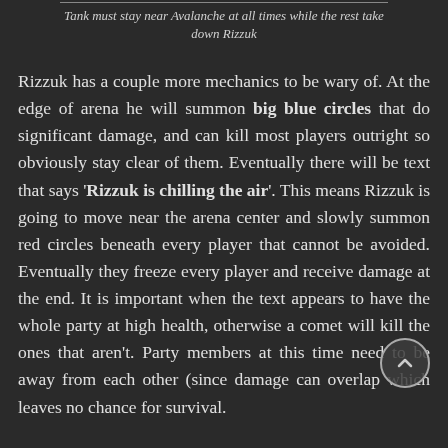Tank must stay near Avalanche at all times while the rest take down Rizzuk
Rizzuk has a couple more mechanics to be wary of. At the edge of arena he will summon big blue circles that do significant damage, and can kill most players outright so obviously stay clear of them. Eventually there will be text that says 'Rizzuk is chilling the air'. This means Rizzuk is going to move near the arena center and slowly summon red circles beneath every player that cannot be avoided. Eventually they freeze every player and receive damage at the end. It is important when the text appears to have the whole party at high health, otherwise a comet will kill the ones that aren't. Party members at this time need to be away from each other since damage can overlap which leaves no chance for survival.